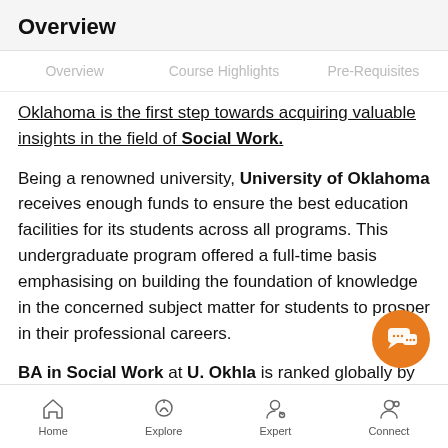Overview
Overview   Course Highlights   Pre-Requisites
Oklahoma is the first step towards acquiring valuable insights in the field of Social Work.
Being a renowned university, University of Oklahoma receives enough funds to ensure the best education facilities for its students across all programs. This undergraduate program offered a full-time basis emphasising on building the foundation of knowledge in the concerned subject matter for students to prosper in their professional careers.
BA in Social Work at U. Okhla is ranked globally by estimated organisations. Such recognition speaks
Home   Explore   Expert   Connect